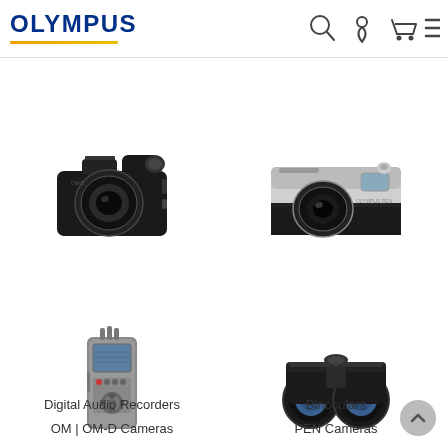OLYMPUS
[Figure (photo): Black professional DSLR-style Olympus OM-D camera with large lens]
OM | OM-D Cameras
[Figure (photo): Silver and black retro-style Olympus PEN camera with small lens]
PEN Cameras
[Figure (photo): Gray Olympus digital audio recorder with display screen and microphones]
Digital Audio Recorders
[Figure (photo): Black Olympus binoculars]
Binoculars